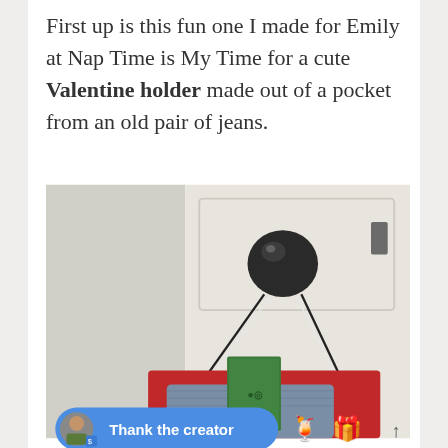First up is this fun one I made for Emily at Nap Time is My Time for a cute Valentine holder made out of a pocket from an old pair of jeans.
[Figure (photo): A denim jeans pocket Valentine holder hanging from a black door knob by black strings. The pocket is decorated with red fabric and contains a green box. A 'Thank the creator' button overlays the bottom of the image with emoji icons.]